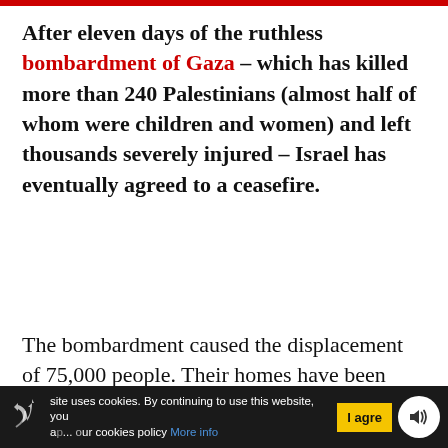After eleven days of the ruthless bombardment of Gaza – which has killed more than 240 Palestinians (almost half of whom were children and women) and left thousands severely injured – Israel has eventually agreed to a ceasefire.
The bombardment caused the displacement of 75,000 people. Their homes have been destroyed and severe damage has been inflicted on essential
site uses cookies. By continuing to use this website, you ... our cookies policy More info | I agre...